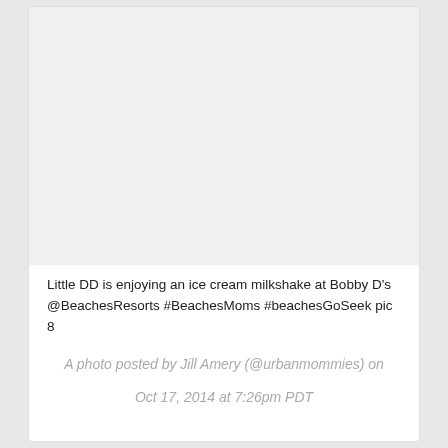[Figure (photo): Blank/placeholder photo area with light gray background]
Little DD is enjoying an ice cream milkshake at Bobby D's @BeachesResorts #BeachesMoms #beachesGoSeek pic 8
A photo posted by Jill Amery (@urbanmommies) on Oct 17, 2014 at 7:26pm PDT